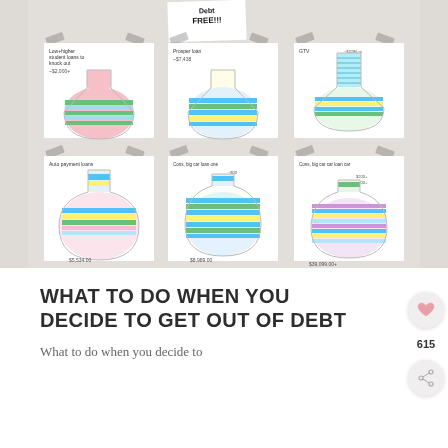[Figure (photo): Photo of six hand-drawn flask/beaker tracker charts pinned to a wall, showing debt payoff progress with colored horizontal stripes. A sticky note at top reads 'Debt FREE!!!']
WHAT TO DO WHEN YOU DECIDE TO GET OUT OF DEBT
What to do when you decide to